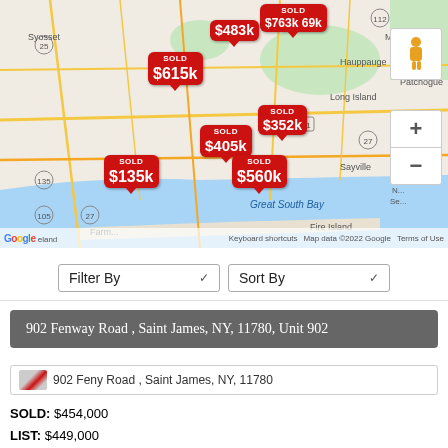[Figure (map): Google Maps screenshot of Long Island, NY showing sold property price markers: $763k 69k, $483k, $615k, $352k, $405k, $560k, $135k. Labels include Syosset, Melville, Amityville, Great South Bay, Fire Island, Jones Beach Island, Hauppauge, Long Island, Sayville, Medford, Patchogue, Farmingdale. Map data ©2022 Google.]
Filter By   Sort By
902 Fenway Road , Saint James, NY, 11780, Unit 902
902 Fenway Road , Saint James, NY, 11780
SOLD: $454,000
LIST: $449,000
SAINT JAMES